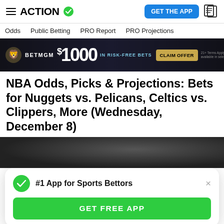ACTION — GET THE APP
Odds   Public Betting   PRO Report   PRO Projections
[Figure (other): BetMGM advertisement banner: $1000 IN RISK-FREE BETS with CLAIM OFFER button]
NBA Odds, Picks & Projections: Bets for Nuggets vs. Pelicans, Celtics vs. Clippers, More (Wednesday, December 8)
[Figure (photo): Basketball player photo, partially visible behind app popup overlay]
#1 App for Sports Bettors
GET FREE APP